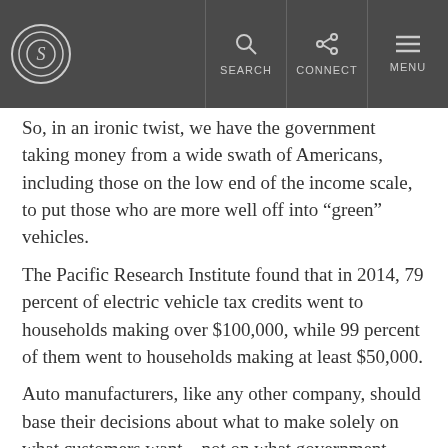SEARCH | CONNECT | MENU
So, in an ironic twist, we have the government taking money from a wide swath of Americans, including those on the low end of the income scale, to put those who are more well off into “green” vehicles.
The Pacific Research Institute found that in 2014, 79 percent of electric vehicle tax credits went to households making over $100,000, while 99 percent of them went to households making at least $50,000.
Auto manufacturers, like any other company, should base their decisions about what to make solely on what customers want—not on what government wants them to want.